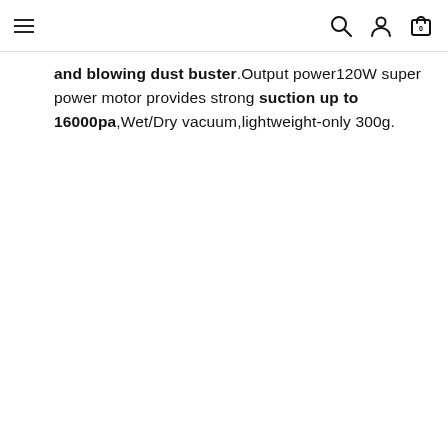Navigation header with menu, search, account, and cart icons
and blowing dust buster.Output power120W super power motor provides strong suction up to 16000pa,Wet/Dry vacuum,lightweight-only 300g.